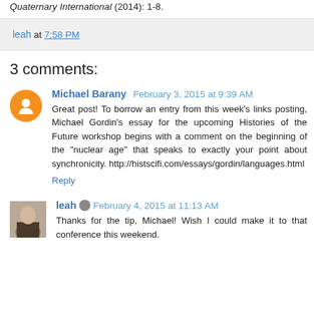Quaternary International (2014): 1-8.
leah at 7:58 PM
3 comments:
Michael Barany February 3, 2015 at 9:39 AM
Great post! To borrow an entry from this week's links posting, Michael Gordin's essay for the upcoming Histories of the Future workshop begins with a comment on the beginning of the "nuclear age" that speaks to exactly your point about synchronicity. http://histscifi.com/essays/gordin/languages.html
Reply
leah February 4, 2015 at 11:13 AM
Thanks for the tip, Michael! Wish I could make it to that conference this weekend.